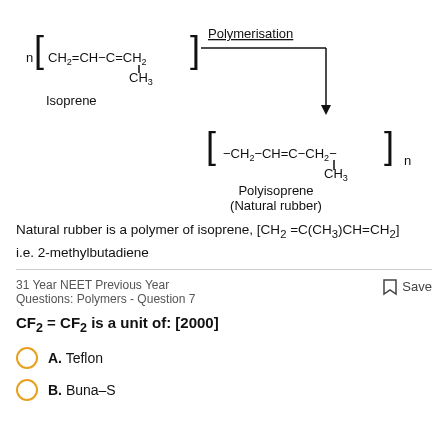[Figure (chemistry-diagram): Chemical reaction diagram showing isoprene monomer n[CH2=CH-C=CH2 with CH3 group] undergoing Polymerisation to form Polyisoprene (Natural rubber) [-CH2-CH=C-CH2-]n with CH3 group]
Natural rubber is a polymer of isoprene, [CH2 =C(CH3)CH=CH2] i.e. 2-methylbutadiene
31 Year NEET Previous Year Questions: Polymers - Question 7
Save
CF2 = CF2 is a unit of: [2000]
A. Teflon
B. Buna–S